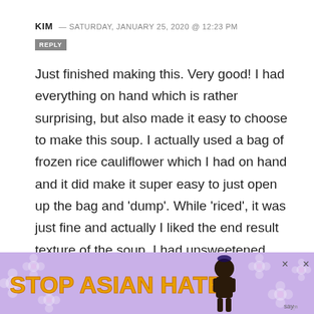KIM — SATURDAY, JANUARY 25, 2020 @ 12:23 PM
Just finished making this. Very good! I had everything on hand which is rather surprising, but also made it easy to choose to make this soup. I actually used a bag of frozen rice cauliflower which I had on hand and it did make it super easy to just open up the bag and 'dump'. While 'riced', it was just fine and actually I liked the end result texture of the soup. I had unsweetened macadamia milk on hand, but have learned that as long as the non-dairy milk is unsweetened that
[Figure (infographic): Advertisement banner with purple floral background reading 'STOP ASIAN HATE' in bold orange text with an illustrated character and close buttons]